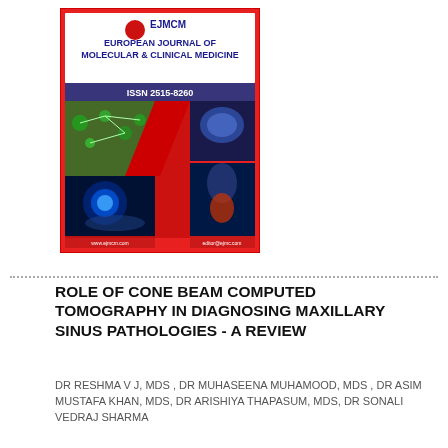[Figure (illustration): Cover of European Journal of Molecular & Clinical Medicine (EJMCM), ISSN 2515-8260, featuring medical/scientific imagery including molecular structures, brain scan, and anatomical images on a red hexagonal background design.]
ROLE OF CONE BEAM COMPUTED TOMOGRAPHY IN DIAGNOSING MAXILLARY SINUS PATHOLOGIES - A REVIEW
DR RESHMA V J, MDS , DR MUHASEENA MUHAMOOD, MDS , DR ASIM MUSTAFA KHAN, MDS, DR ARISHIYA THAPASUM, MDS, DR SONALI VEDRAJ SHARMA